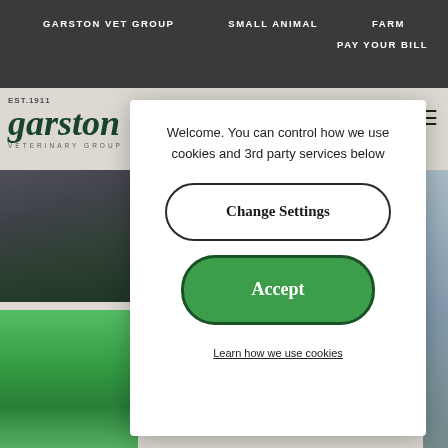GARSTON VET GROUP   SMALL ANIMAL   FARM   PAY YOUR BILL
[Figure (screenshot): Garston Veterinary Group logo with EST.1911 text and green serif garston wordmark with VETERINARY GROUP subtitle]
[Figure (photo): Background photo showing a car and green wellington boots partially visible behind cookie consent modal]
Welcome. You can control how we use cookies and 3rd party services below
Change Settings
Accept
Learn how we use cookies